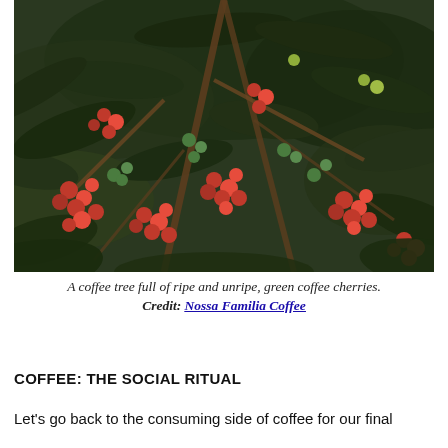[Figure (photo): A coffee tree branch covered in ripe red and unripe green coffee cherries, with dark green leaves filling the frame.]
A coffee tree full of ripe and unripe, green coffee cherries.
Credit: Nossa Familia Coffee
COFFEE: THE SOCIAL RITUAL
Let's go back to the consuming side of coffee for our final